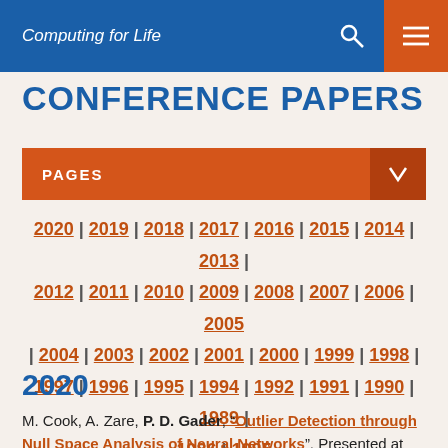Computing for Life
CONFERENCE PAPERS
PAGES
2020 | 2019 | 2018 | 2017 | 2016 | 2015 | 2014 | 2013 | 2012 | 2011 | 2010 | 2009 | 2008 | 2007 | 2006 | 2005 | 2004 | 2003 | 2002 | 2001 | 2000 | 1999 | 1998 | 1997 | 1996 | 1995 | 1994 | 1992 | 1991 | 1990 | 1989 | 1986 | 1985
2020
M. Cook, A. Zare, P. D. Gader, "Outlier Detection through Null Space Analysis of Neural Networks", Presented at